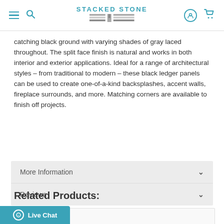STACKED STONE
catching black ground with varying shades of gray laced throughout. The split face finish is natural and works in both interior and exterior applications. Ideal for a range of architectural styles – from traditional to modern – these black ledger panels can be used to create one-of-a-kind backsplashes, accent walls, fireplace surrounds, and more. Matching corners are available to finish off projects.
More Information
Reviews
Related Products: